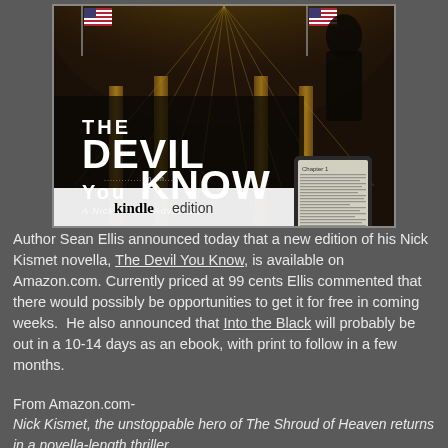[Figure (photo): Book cover for 'The Devil You Know - A Nick Kismet Adventure' showing a Kindle edition, with a cathedral/church interior background and dramatic lighting. The cover features large title text and a Kindle device showing the book.]
Author Sean Ellis announced today that a new edition of his Nick Kismet novella, The Devil You Know, is available on Amazon.com. Currently priced at 99 cents Ellis commented that there would possibly be opportunities to get it for free in coming weeks.  He also announced that Into the Black will probably be out in a 10-14 days as an ebook, with print to follow in a few months.
From Amazon.com-
Nick Kismet, the unstoppable hero of The Shroud of Heaven returns in a novella-length thriller.